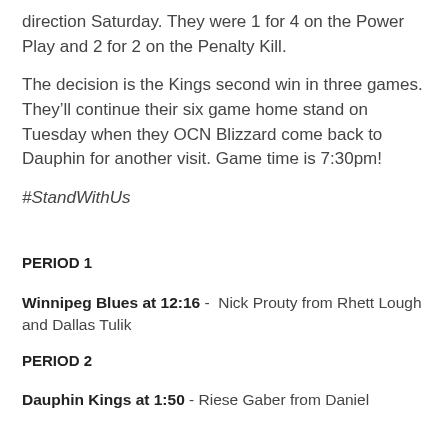direction Saturday. They were 1 for 4 on the Power Play and 2 for 2 on the Penalty Kill.
The decision is the Kings second win in three games. They’ll continue their six game home stand on Tuesday when they OCN Blizzard come back to Dauphin for another visit. Game time is 7:30pm!
#StandWithUs
PERIOD 1
Winnipeg Blues at 12:16 - Nick Prouty from Rhett Lough and Dallas Tulik
PERIOD 2
Dauphin Kings at 1:50 - Riese Gaber from Daniel